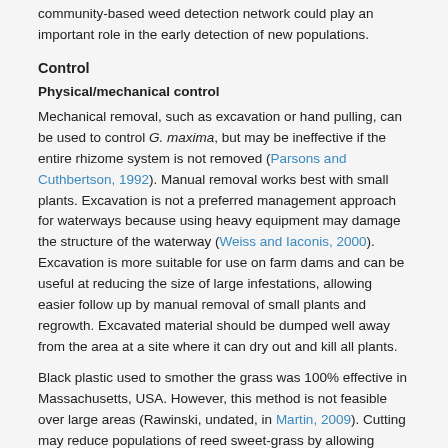community-based weed detection network could play an important role in the early detection of new populations.
Control
Physical/mechanical control
Mechanical removal, such as excavation or hand pulling, can be used to control G. maxima, but may be ineffective if the entire rhizome system is not removed (Parsons and Cuthbertson, 1992). Manual removal works best with small plants. Excavation is not a preferred management approach for waterways because using heavy equipment may damage the structure of the waterway (Weiss and Iaconis, 2000). Excavation is more suitable for use on farm dams and can be useful at reducing the size of large infestations, allowing easier follow up by manual removal of small plants and regrowth. Excavated material should be dumped well away from the area at a site where it can dry out and kill all plants.
Black plastic used to smother the grass was 100% effective in Massachusetts, USA. However, this method is not feasible over large areas (Rawinski, undated, in Martin, 2009). Cutting may reduce populations of reed sweet-grass by allowing sunlight to reach other, competitive plants. Multiple cuttings (more than three) may reduce the amount of carbohydrates stored in the rhizomes. Cutting during the autumn months when carbohydrates and nutrients are stored for